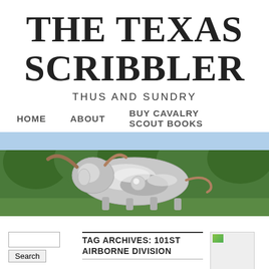THE TEXAS SCRIBBLER
THUS AND SUNDRY
HOME   ABOUT   BUY CAVALRY SCOUT BOOKS
[Figure (photo): Outdoor sculpture of a chrome/metallic longhorn bull against a background of trees and blue sky]
TAG ARCHIVES: 101ST AIRBORNE DIVISION
[Figure (photo): Broken/missing image icon placeholder (small green square)]
New combat veterans deserve the attention
[Figure (illustration): Yellow background with snake illustration - Gadsden flag style image]
RECENT